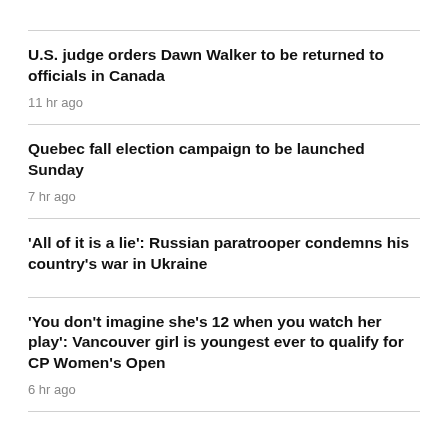U.S. judge orders Dawn Walker to be returned to officials in Canada
11 hr ago
Quebec fall election campaign to be launched Sunday
7 hr ago
'All of it is a lie': Russian paratrooper condemns his country's war in Ukraine
'You don't imagine she's 12 when you watch her play': Vancouver girl is youngest ever to qualify for CP Women's Open
6 hr ago